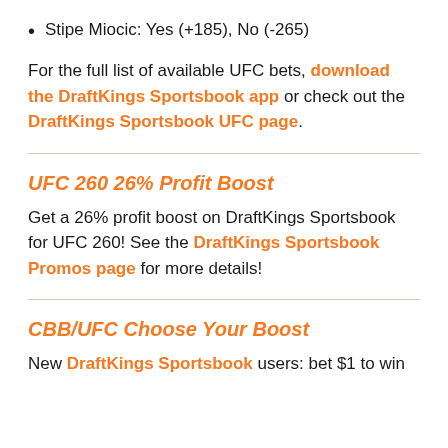Stipe Miocic: Yes (+185), No (-265)
For the full list of available UFC bets, download the DraftKings Sportsbook app or check out the DraftKings Sportsbook UFC page.
UFC 260 26% Profit Boost
Get a 26% profit boost on DraftKings Sportsbook for UFC 260! See the DraftKings Sportsbook Promos page for more details!
CBB/UFC Choose Your Boost
New DraftKings Sportsbook users: bet $1 to win